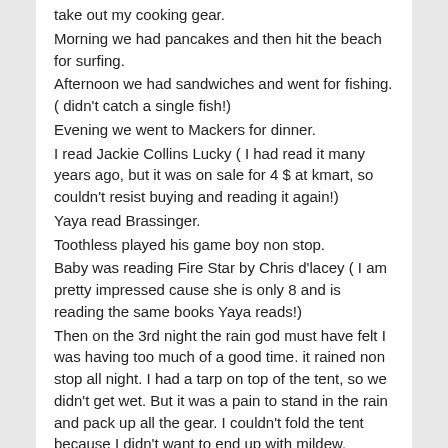take out my cooking gear.
Morning we had pancakes and then hit the beach for surfing.
Afternoon we had sandwiches and went for fishing. ( didn't catch a single fish!)
Evening we went to Mackers for dinner.
I read Jackie Collins Lucky ( I had read it many years ago, but it was on sale for 4 $ at kmart, so couldn't resist buying and reading it again!)
Yaya read Brassinger.
Toothless played his game boy non stop.
Baby was reading Fire Star by Chris d'lacey ( I am pretty impressed cause she is only 8 and is reading the same books Yaya reads!)
Then on the 3rd night the rain god must have felt I was having too much of a good time. it rained non stop all night. I had a tarp on top of the tent, so we didn't get wet. But it was a pain to stand in the rain and pack up all the gear. I couldn't fold the tent because I didn't want to end up with mildew.
But that was not all.